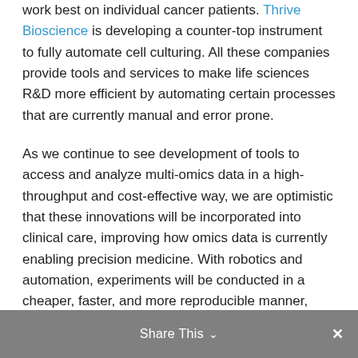work best on individual cancer patients. Thrive Bioscience is developing a counter-top instrument to fully automate cell culturing. All these companies provide tools and services to make life sciences R&D more efficient by automating certain processes that are currently manual and error prone.
As we continue to see development of tools to access and analyze multi-omics data in a high-throughput and cost-effective way, we are optimistic that these innovations will be incorporated into clinical care, improving how omics data is currently enabling precision medicine. With robotics and automation, experiments will be conducted in a cheaper, faster, and more reproducible manner, fueling scientific discovery and clinical translation.
Share This ∨  ×